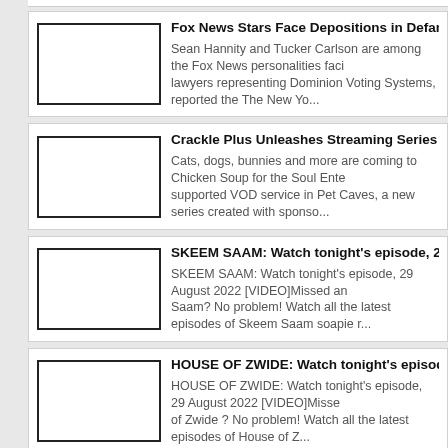Fox News Stars Face Depositions in Defamation Suit
Sean Hannity and Tucker Carlson are among the Fox News personalities facing lawyers representing Dominion Voting Systems, reported the The New Yo...
Crackle Plus Unleashes Streaming Series Pet Caves' For PetSma...
Cats, dogs, bunnies and more are coming to Chicken Soup for the Soul Ente... supported VOD service in Pet Caves, a new series created with sponso...
SKEEM SAAM: Watch tonight's episode, 29 August 2022 [VIDEO]
SKEEM SAAM: Watch tonight's episode, 29 August 2022 [VIDEO]Missed an Saam? No problem! Watch all the latest episodes of Skeem Saam soapie r...
HOUSE OF ZWIDE: Watch tonight's episode, 29 August 2022 [VID...
HOUSE OF ZWIDE: Watch tonight's episode, 29 August 2022 [VIDEO]Misse of Zwide ? No problem! Watch all the latest episodes of House of Z...
Back to the City': SA hip-hop festival celebrates 15 years in Jobur...
Back to the City': SA hip-hop festival celebrates 15 years in JoburgSA hip-ho Blxckie, Costa Titch, Nadia Nakai, Maglera Doe Boy are set to ...
GOMORA: Watch tonight's episode, 29 August 2022 [VIDEO]
GOMORA: Watch tonight's episode, 29 August 2022 [VIDEO]Missed an episo problem! Just watch all the latest episodes of gomora soapie right he...
SCANDAL: Watch tonight's episode, 29 August 2022 [VIDEO]